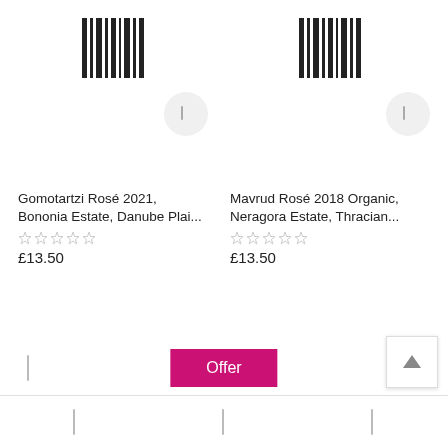[Figure (screenshot): Mobile e-commerce app screenshot showing two wine product listings with barcodes, cart buttons, star ratings, and prices, plus bottom navigation and action bar with Offer button.]
Gomotartzi Rosé 2021, Bononia Estate, Danube Plai...
£13.50
Mavrud Rosé 2018 Organic, Neragora Estate, Thracian...
£13.50
Offer